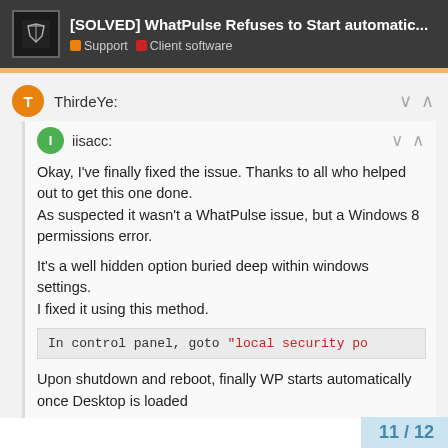[SOLVED] WhatPulse Refuses to Start automatic... | Support | Client software
ThirdeYe:
iisacc:
Okay, I've finally fixed the issue. Thanks to all who helped out to get this one done.
As suspected it wasn't a WhatPulse issue, but a Windows 8 permissions error.

It's a well hidden option buried deep within windows settings.
I fixed it using this method.
Upon shutdown and reboot, finally WP starts automatically once Desktop is loaded
11 / 12